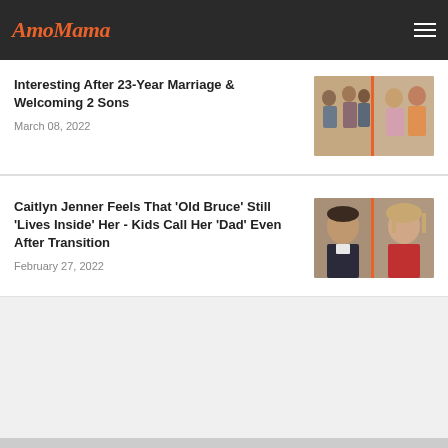AmoMama
Interesting After 23-Year Marriage & Welcoming 2 Sons
March 08, 2022
[Figure (photo): Two photos side by side showing a celebrity family group and a couple]
Caitlyn Jenner Feels That 'Old Bruce' Still 'Lives Inside' Her - Kids Call Her 'Dad' Even After Transition
February 27, 2022
[Figure (photo): Two side-by-side photos showing Bruce Jenner before and Caitlyn Jenner after transition]